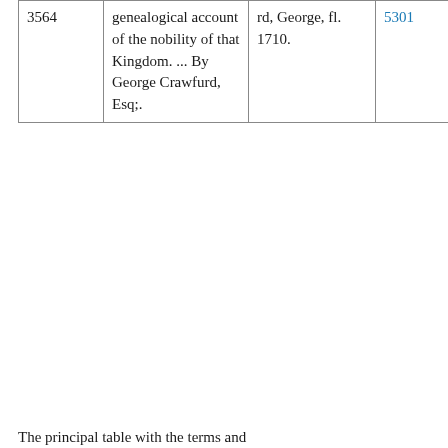|  |  |  |  |  |
| --- | --- | --- | --- | --- |
| 3564 | genealogical account of the nobility of that Kingdom. ... By George Crawfurd, Esq;. | rd, George, fl. 1710. | 5301 | ECCO |
The principal table with the terms and...